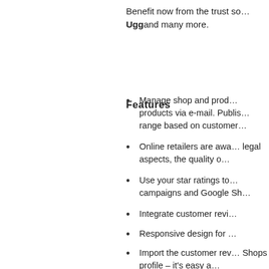Benefit now from the trust so… Ugg and many more.
Features
Manage shop and prod… products via e-mail. Publis… range based on customer…
Online retailers are awa… legal aspects, the quality o…
Use your star ratings to… campaigns and Google Sh…
Integrate customer revi…
Responsive design for …
Import the customer rev… Shops profile – it's easy a…
Manage reviews via ou…